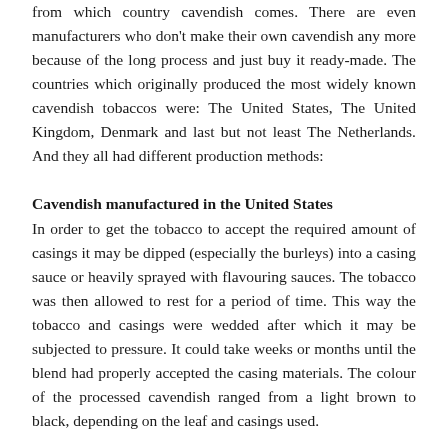from which country cavendish comes. There are even manufacturers who don't make their own cavendish any more because of the long process and just buy it ready-made. The countries which originally produced the most widely known cavendish tobaccos were: The United States, The United Kingdom, Denmark and last but not least The Netherlands. And they all had different production methods:
Cavendish manufactured in the United States
In order to get the tobacco to accept the required amount of casings it may be dipped (especially the burleys) into a casing sauce or heavily sprayed with flavouring sauces. The tobacco was then allowed to rest for a period of time. This way the tobacco and casings were wedded after which it may be subjected to pressure. It could take weeks or months until the blend had properly accepted the casing materials. The colour of the processed cavendish ranged from a light brown to black, depending on the leaf and casings used.
Cavendish Manufactured in the United Kingdom
The English manufactured their cavendish only with a heavier grade of Virginia. The tobacco was placed in molds and subjected to heavy pressure for three to four days. The pressure on the tobacco caused